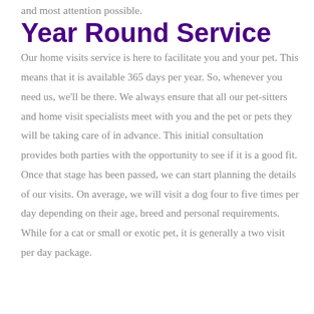and most attention possible.
Year Round Service
Our home visits service is here to facilitate you and your pet. This means that it is available 365 days per year. So, whenever you need us, we'll be there. We always ensure that all our pet-sitters and home visit specialists meet with you and the pet or pets they will be taking care of in advance. This initial consultation provides both parties with the opportunity to see if it is a good fit. Once that stage has been passed, we can start planning the details of our visits. On average, we will visit a dog four to five times per day depending on their age, breed and personal requirements. While for a cat or small or exotic pet, it is generally a two visit per day package.